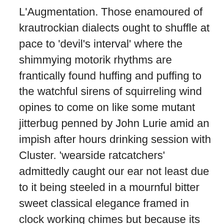L'Augmentation. Those enamoured of krautrockian dialects ought to shuffle at pace to 'devil's interval' where the shimmying motorik rhythms are frantically found huffing and puffing to the watchful sirens of squirreling wind opines to come on like some mutant jitterbug penned by John Lurie amid an impish after hours drinking session with Cluster. 'wearside ratcatchers' admittedly caught our ear not least due to it being steeled in a mournful bitter sweet classical elegance framed in clock working chimes but because its dusted in the kind of Stereolab squiggles that longingly littered their 'cobra and phases' set. Somewhere else the lush sand stroked tropicalia of the lazy eyed 'hosianna baft' recalls the idle some starry eyed distant land drift of to shack highway's debuting platter with its softly deflected off set funk mirages envisaging a lilting warmth and carefree nature something with which